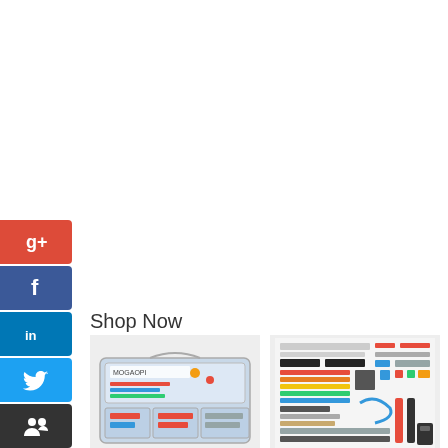[Figure (other): Social media share buttons bar on the left side: Google+, Facebook, LinkedIn, Twitter, People, StumbleUpon]
Shop Now
[Figure (photo): MOGAOPI Electronic component kit in a clear plastic organizer case]
MOGAOPI Electronic
[Figure (photo): REXQualis Electronics component kit with various components laid out in rows]
REXQualis Electronics